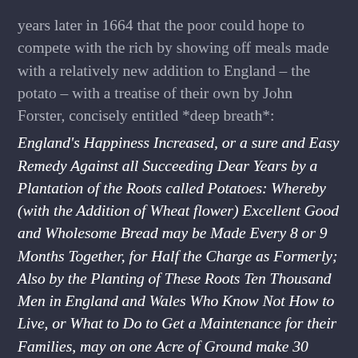years later in 1664 that the poor could hope to compete with the rich by showing off meals made with a relatively new addition to England – the potato – with a treatise of their own by John Forster, concisely entitled *deep breath*:
England's Happiness Increased, or a sure and Easy Remedy Against all Succeeding Dear Years by a Plantation of the Roots called Potatoes: Whereby (with the Addition of Wheat flower) Excellent Good and Wholesome Bread may be Made Every 8 or 9 Months Together, for Half the Charge as Formerly; Also by the Planting of These Roots Ten Thousand Men in England and Wales Who Know Not How to Live, or What to Do to Get a Maintenance for their Families, may on one Acre of Ground make 30